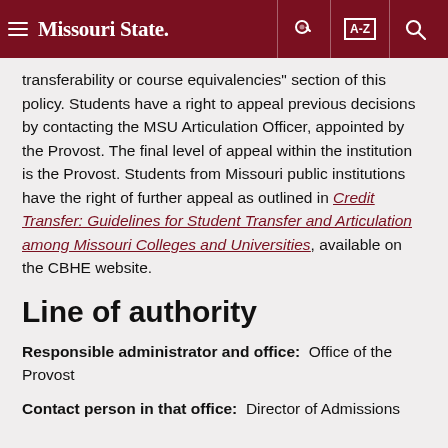Missouri State [navigation header with menu, A-Z, search icons]
transferability or course equivalencies" section of this policy. Students have a right to appeal previous decisions by contacting the MSU Articulation Officer, appointed by the Provost. The final level of appeal within the institution is the Provost. Students from Missouri public institutions have the right of further appeal as outlined in Credit Transfer: Guidelines for Student Transfer and Articulation among Missouri Colleges and Universities, available on the CBHE website.
Line of authority
Responsible administrator and office:  Office of the Provost
Contact person in that office:  Director of Admissions